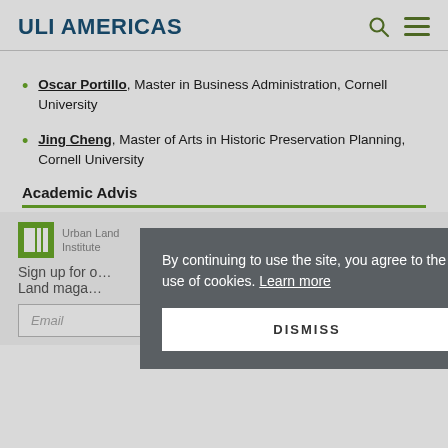ULI AMERICAS
Oscar Portillo, Master in Business Administration, Cornell University
Jing Cheng, Master of Arts in Historic Preservation Planning, Cornell University
Academic Advis…
[Figure (logo): Urban Land Institute ULI logo with green square background]
Sign up for … Land maga…
By continuing to use the site, you agree to the use of cookies. Learn more
DISMISS
Email  SIGN UP